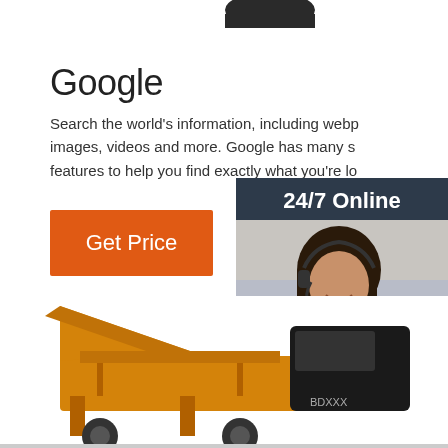[Figure (photo): Partial dark object (possibly a hat or equipment) visible at the very top of the page]
Google
Search the world's information, including webp... images, videos and more. Google has many s... features to help you find exactly what you're lo...
[Figure (infographic): Customer service chat widget with dark blue background. Top section shows '24/7 Online' text. Middle section shows photo of a smiling woman with headset. Bottom section shows 'Click here for free chat !' text and an orange QUOTATION button.]
Get Price
[Figure (photo): Orange construction/industrial machinery (appears to be a concrete mixer or similar equipment) partially visible at the bottom of the page]